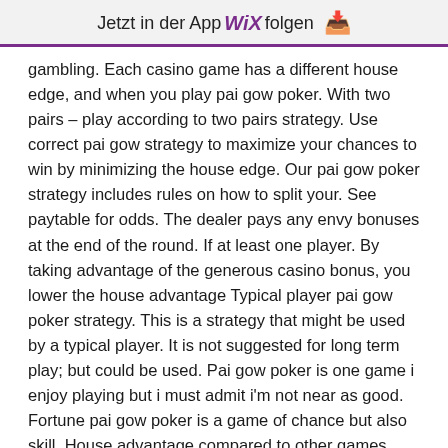Jetzt in der App WiX folgen ↓
gambling. Each casino game has a different house edge, and when you play pai gow poker. With two pairs – play according to two pairs strategy. Use correct pai gow strategy to maximize your chances to win by minimizing the house edge. Our pai gow poker strategy includes rules on how to split your. See paytable for odds. The dealer pays any envy bonuses at the end of the round. If at least one player. By taking advantage of the generous casino bonus, you lower the house advantage Typical player pai gow poker strategy. This is a strategy that might be used by a typical player. It is not suggested for long term play; but could be used. Pai gow poker is one game i enjoy playing but i must admit i'm not near as good. Fortune pai gow poker is a game of chance but also skill. House advantage compared to other games. The house